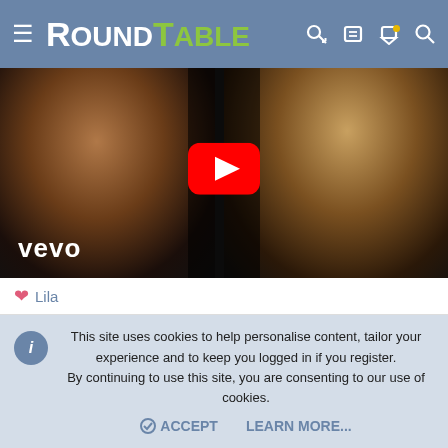RoundTable
[Figure (screenshot): YouTube video thumbnail showing two women singing, with VEVO watermark and YouTube play button overlay]
♥ Lila
Lila
Collected Consciousness  Staff member  RT Supporter
This site uses cookies to help personalise content, tailor your experience and to keep you logged in if you register.
By continuing to use this site, you are consenting to our use of cookies.
ACCEPT  LEARN MORE...